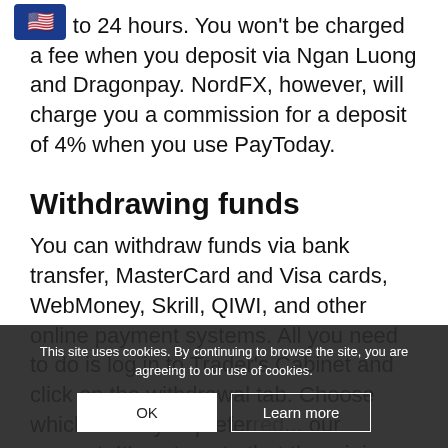[Figure (illustration): US flag emoji icon in a rounded rectangle in the top-left corner]
ta... to 24 hours. You won't be charged a fee when you deposit via Ngan Luong and Dragonpay. NordFX, however, will charge you a commission for a deposit of 4% when you use PayToday.
Withdrawing funds
You can withdraw funds via bank transfer, MasterCard and Visa cards, WebMoney, Skrill, QIWI, and other online payment systems. All you need to do is log in to Trader's Cabinet and click on the withdrawal tab. Choose which mode you preferred... our request. It's ... to note that the minimum withdrawal is $1.
This site uses cookies. By continuing to browse the site, you are agreeing to our use of cookies.